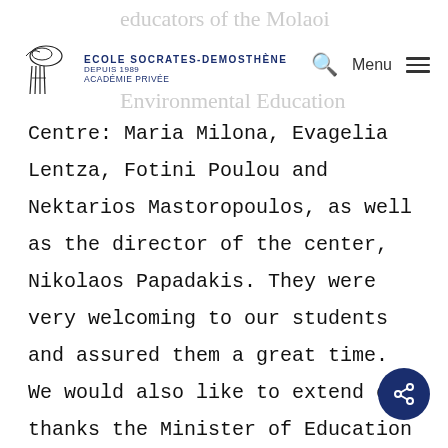educators of the Molaoi · Ecole Socrates-Demosthène · Académie Privée · Environmental Education
Centre: Maria Milona, Evagelia Lentza, Fotini Poulou and Nektarios Mastoropoulos, as well as the director of the center, Nikolaos Papadakis. They were very welcoming to our students and assured them a great time. We would also like to extend our thanks the Minister of Education ofGreece,